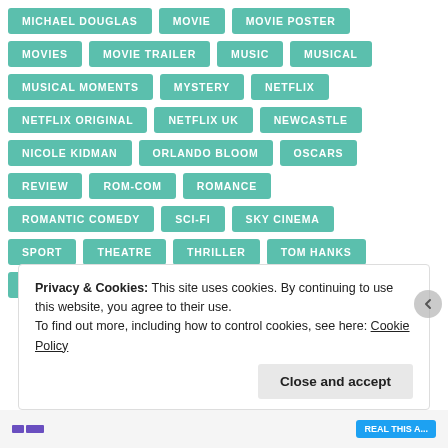MICHAEL DOUGLAS
MOVIE
MOVIE POSTER
MOVIES
MOVIE TRAILER
MUSIC
MUSICAL
MUSICAL MOMENTS
MYSTERY
NETFLIX
NETFLIX ORIGINAL
NETFLIX UK
NEWCASTLE
NICOLE KIDMAN
ORLANDO BLOOM
OSCARS
REVIEW
ROM-COM
ROMANCE
ROMANTIC COMEDY
SCI-FI
SKY CINEMA
SPORT
THEATRE
THRILLER
TOM HANKS
TRAILER
UK TOUR
WEST END
Privacy & Cookies: This site uses cookies. By continuing to use this website, you agree to their use.
To find out more, including how to control cookies, see here: Cookie Policy
Close and accept